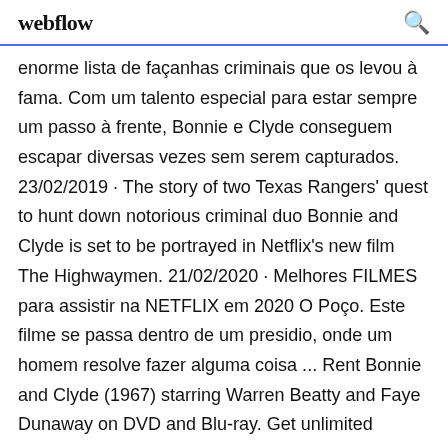webflow
enorme lista de façanhas criminais que os levou à fama. Com um talento especial para estar sempre um passo à frente, Bonnie e Clyde conseguem escapar diversas vezes sem serem capturados. 23/02/2019 · The story of two Texas Rangers' quest to hunt down notorious criminal duo Bonnie and Clyde is set to be portrayed in Netflix's new film The Highwaymen. 21/02/2020 · Melhores FILMES para assistir na NETFLIX em 2020 O Poço. Este filme se passa dentro de um presidio, onde um homem resolve fazer alguma coisa ... Rent Bonnie and Clyde (1967) starring Warren Beatty and Faye Dunaway on DVD and Blu-ray. Get unlimited